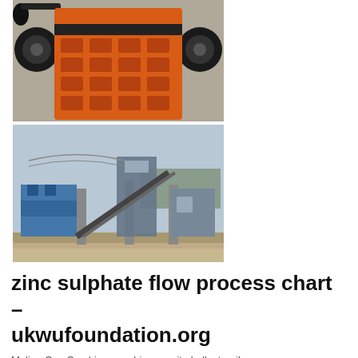[Figure (photo): Front view of an orange jaw crusher machine with large black flywheels on both sides, sitting on a concrete floor.]
[Figure (photo): Outdoor industrial stone crushing plant with blue machinery, conveyor belts, and steel support structures against a grey sky.]
zinc sulphate flow process chart – ukwufoundation.org
Mulino Con Crushing, crushing granite ballast, railway...